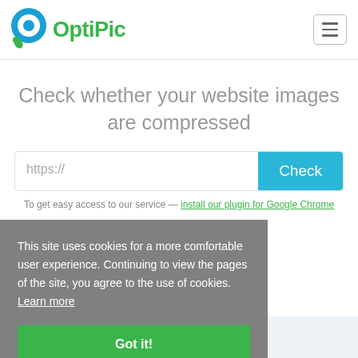[Figure (logo): OptiPic logo with blue/green circular icon and green text 'OptiPic']
Check whether your website images are compressed
https://
Check
To get easy access to our service — install our plugin for Google Chrome
This site uses cookies for a more comfortable user experience. Continuing to view the pages of the site, you agree to the use of cookies. Learn more
Got it!
Why choose us?